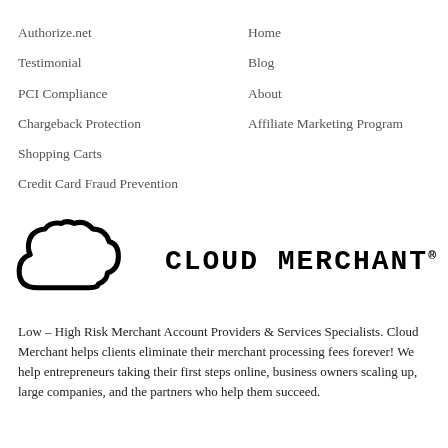Authorize.net
Home
Testimonial
Blog
PCI Compliance
About
Chargeback Protection
Affiliate Marketing Program
Shopping Carts
Credit Card Fraud Prevention
[Figure (logo): Cloud Merchant logo: black cloud outline with bold text CLOUD MERCHANT and registered trademark symbol]
Low – High Risk Merchant Account Providers & Services Specialists. Cloud Merchant helps clients eliminate their merchant processing fees forever! We help entrepreneurs taking their first steps online, business owners scaling up, large companies, and the partners who help them succeed.